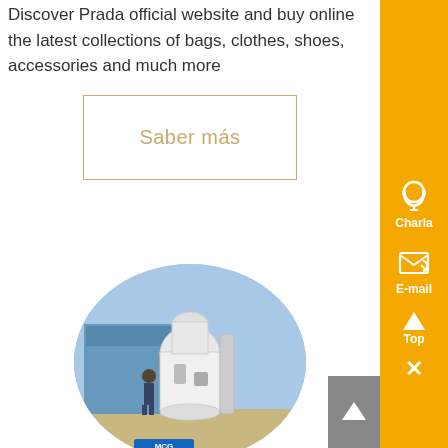Discover Prada official website and buy online the latest collections of bags, clothes, shoes, accessories and much more
Saber más
[Figure (photo): Oval-cropped photo of an industrial milling machine (white cylindrical grinder) outdoors, with a person visible and blue sky background. Logo text visible at bottom.]
Charla
E-mail
Top